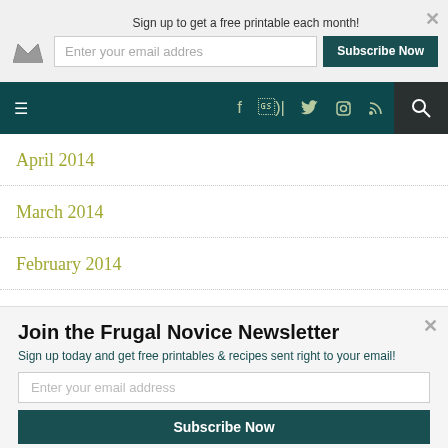Sign up to get a free printable each month!
Enter your email addres | Subscribe Now
Navigation bar with hamburger menu, social icons (f, twitter, instagram, rss), and search
April 2014
March 2014
February 2014
January 2014
December 2013
Join the Frugal Novice Newsletter
Sign up today and get free printables & recipes sent right to your email!
Enter your email address
Subscribe Now